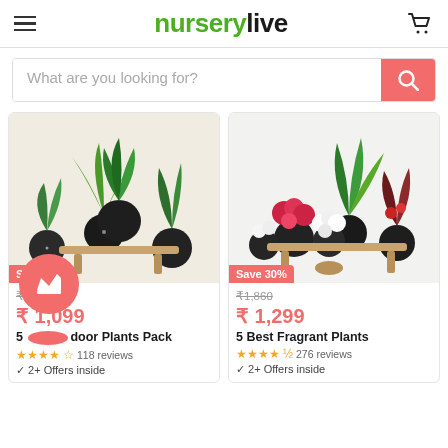nurserylive
What are you looking for?
[Figure (photo): 5 indoor plants in black pots arranged on a wooden stand, beige background]
Save 35%
₹1,695 (strikethrough) ₹1,099
5 Indoor Plants Pack
★★★★☆ 118 reviews
✓ 2+ Offers inside
[Figure (photo): 5 fragrant flowering plants in black pots on wooden stand, white background]
Save 30%
₹1,860 (strikethrough) ₹1,299
5 Best Fragrant Plants
★★★★½ 276 reviews
✓ 2+ Offers inside